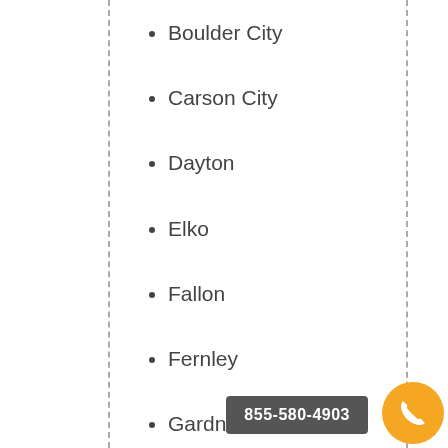Boulder City
Carson City
Dayton
Elko
Fallon
Fernley
Gardnerville
Henderson
Las Vegas
Mesquite
855-580-4903